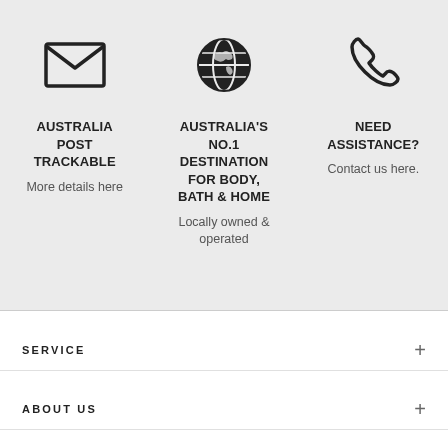[Figure (infographic): Three-column infographic on grey background. Column 1: envelope icon, bold text 'AUSTRALIA POST TRACKABLE', subtext 'More details here'. Column 2: globe icon, bold text 'AUSTRALIA'S NO.1 DESTINATION FOR BODY, BATH & HOME', subtext 'Locally owned & operated'. Column 3: phone icon, bold text 'NEED ASSISTANCE?', subtext 'Contact us here.']
SERVICE
ABOUT US